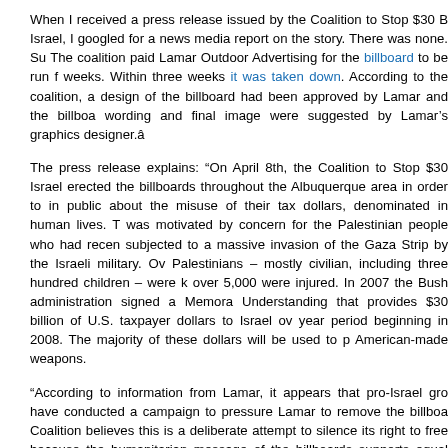When I received a press release issued by the Coalition to Stop $30 B Israel, I googled for a news media report on the story. There was none. Su The coalition paid Lamar Outdoor Advertising for the billboard to be run f weeks. Within three weeks it was taken down. According to the coalition, a design of the billboard had been approved by Lamar and the billboa wording and final image were suggested by Lamar’s graphics designer.â
The press release explains: “On April 8th, the Coalition to Stop $30 Israel erected the billboards throughout the Albuquerque area in order to in public about the misuse of their tax dollars, denominated in human lives. T was motivated by concern for the Palestinian people who had recen subjected to a massive invasion of the Gaza Strip by the Israeli military. Ov Palestinians – mostly civilian, including three hundred children – were k over 5,000 were injured. In 2007 the Bush administration signed a Memora Understanding that provides $30 billion of U.S. taxpayer dollars to Israel ov year period beginning in 2008. The majority of these dollars will be used to p American-made weapons.
“According to information from Lamar, it appears that pro-Israel gro have conducted a campaign to pressure Lamar to remove the billboa Coalition believes this is a deliberate attempt to silence its right to free because the humanitarian message of the billboards supports equal right Palestinian people, thereby necessitating criticism of Israel.”
The dispute between Lamar and the Coalition is a matter of contract law, no to the mission of this organization. However, the fact that the American me to make hay out of Muslim sensitivity to anti-Muslim propaganda while cov